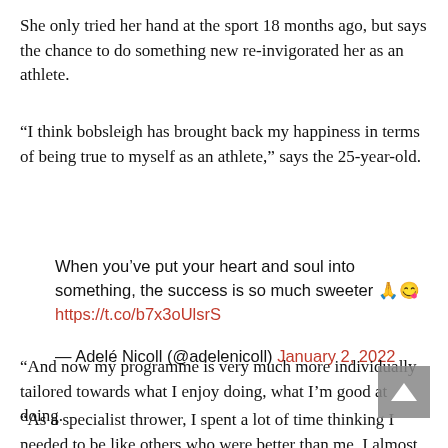She only tried her hand at the sport 18 months ago, but says the chance to do something new re-invigorated her as an athlete.
“I think bobsleigh has brought back my happiness in terms of being true to myself as an athlete,” says the 25-year-old.
When you’ve put your heart and soul into something, the success is so much sweeter 🙏🛹😋 https://t.co/b7x3oUlsrS
— Adelé Nicoll (@adelenicoll) January 2, 2022
“And now my programme is very much more individually tailored towards what I enjoy doing, what I’m good at doing.
“As a specialist thrower, I spent a lot of time thinking I needed to be like others who were better than me. I almost